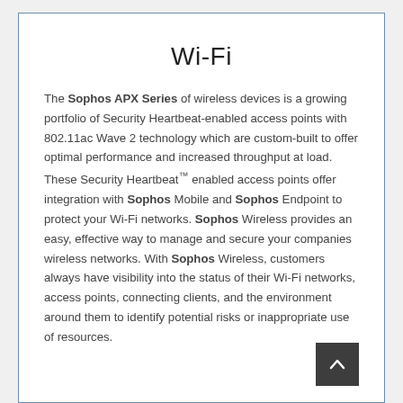Wi-Fi
The Sophos APX Series of wireless devices is a growing portfolio of Security Heartbeat-enabled access points with 802.11ac Wave 2 technology which are custom-built to offer optimal performance and increased throughput at load. These Security Heartbeat™ enabled access points offer integration with Sophos Mobile and Sophos Endpoint to protect your Wi-Fi networks. Sophos Wireless provides an easy, effective way to manage and secure your companies wireless networks. With Sophos Wireless, customers always have visibility into the status of their Wi-Fi networks, access points, connecting clients, and the environment around them to identify potential risks or inappropriate use of resources.